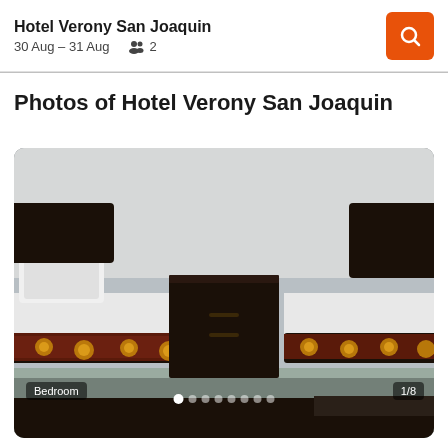Hotel Verony San Joaquin
30 Aug – 31 Aug  👥 2
Photos of Hotel Verony San Joaquin
[Figure (photo): Hotel bedroom with two single beds with dark wood frames and dark brown/gold patterned bed runners, separated by a dark nightstand, white walls and tiled floor. Image is labeled 'Bedroom' and shows 1/8 indicator.]